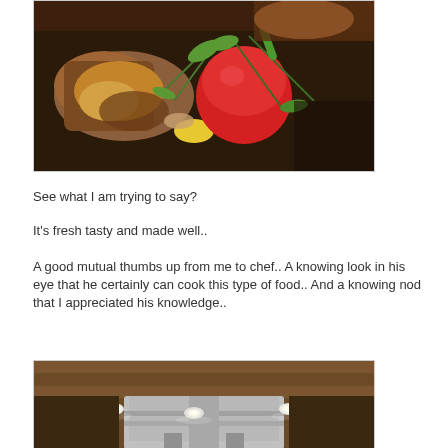[Figure (photo): Close-up photo of a plate of food with grilled/fried meat, colorful vegetables including yellow peppers, green herbs/arugula, and a large red tomato on a dark plate]
See what I am trying to say?
It's fresh tasty and made well..
A good mutual thumbs up from me to chef.. A knowing look in his eye that he certainly can cook this type of food.. And a knowing nod that I appreciated his knowledge..
[Figure (photo): Interior photo of a commercial kitchen showing the ceiling with recessed lights and stainless steel ventilation equipment]